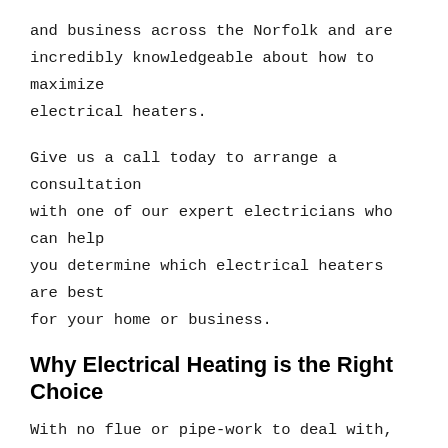and business across the Norfolk and are incredibly knowledgeable about how to maximize electrical heaters.
Give us a call today to arrange a consultation with one of our expert electricians who can help you determine which electrical heaters are best for your home or business.
Why Electrical Heating is the Right Choice
With no flue or pipe-work to deal with, there are none of the associated restrictions or regulatory issues to dictate where heaters are positioned, giving clients more flexibility than the alternatives. Plus, with not fuel burnt